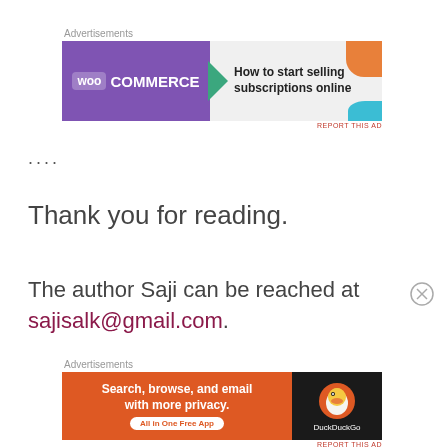Advertisements
[Figure (other): WooCommerce advertisement banner: How to start selling subscriptions online]
....
Thank you for reading.
The author Saji can be reached at sajisalk@gmail.com.
Advertisements
[Figure (other): DuckDuckGo advertisement: Search, browse, and email with more privacy. All in One Free App]